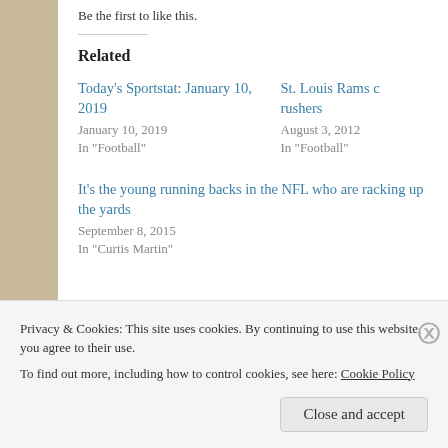Be the first to like this.
Related
Today's Sportstat: January 10, 2019
January 10, 2019
In "Football"
St. Louis Rams c... rushers
August 3, 2012
In "Football"
It's the young running backs in the NFL who are racking up the yards
September 8, 2015
In "Curtis Martin"
Privacy & Cookies: This site uses cookies. By continuing to use this website, you agree to their use.
To find out more, including how to control cookies, see here: Cookie Policy
Close and accept